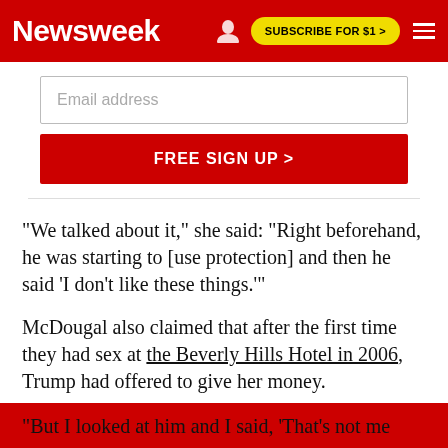Newsweek
Email address
FREE SIGN UP >
"We talked about it," she said: "Right beforehand, he was starting to [use protection] and then he said 'I don't like these things.'"
McDougal also claimed that after the first time they had sex at the Beverly Hills Hotel in 2006, Trump had offered to give her money.
"But I looked at him and I said, 'That's not me...